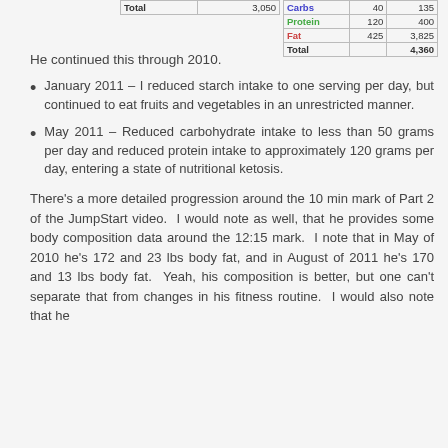| Total | 3,050 |
| --- | --- |
|  |  |  |
| --- | --- | --- |
| Carbs | 40 | 135 |
| Protein | 120 | 400 |
| Fat | 425 | 3,825 |
| Total |  | 4,360 |
He continued this through 2010.
January 2011 – I reduced starch intake to one serving per day, but continued to eat fruits and vegetables in an unrestricted manner.
May 2011 – Reduced carbohydrate intake to less than 50 grams per day and reduced protein intake to approximately 120 grams per day, entering a state of nutritional ketosis.
There's a more detailed progression around the 10 min mark of Part 2 of the JumpStart video.  I would note as well, that he provides some body composition data around the 12:15 mark.  I note that in May of 2010 he's 172 and 23 lbs body fat, and in August of 2011 he's 170 and 13 lbs body fat.  Yeah, his composition is better, but one can't separate that from changes in his fitness routine.  I would also note that he